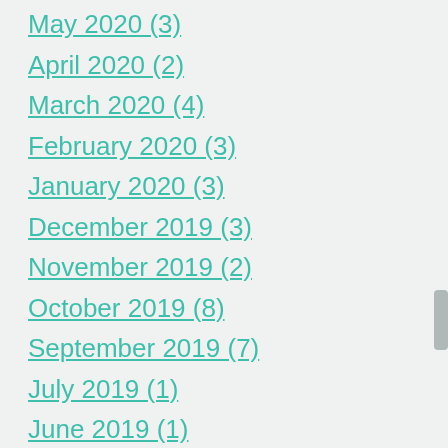May 2020 (3)
April 2020 (2)
March 2020 (4)
February 2020 (3)
January 2020 (3)
December 2019 (3)
November 2019 (2)
October 2019 (8)
September 2019 (7)
July 2019 (1)
June 2019 (1)
April 2019 (1)
March 2019 (4)
February 2019 (2)